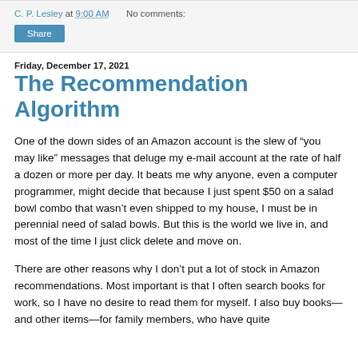C. P. Lesley at 9:00 AM   No comments:
Share
Friday, December 17, 2021
The Recommendation Algorithm
One of the down sides of an Amazon account is the slew of “you may like” messages that deluge my e-mail account at the rate of half a dozen or more per day. It beats me why anyone, even a computer programmer, might decide that because I just spent $50 on a salad bowl combo that wasn’t even shipped to my house, I must be in perennial need of salad bowls. But this is the world we live in, and most of the time I just click delete and move on.
There are other reasons why I don’t put a lot of stock in Amazon recommendations. Most important is that I often search books for work, so I have no desire to read them for myself. I also buy books—and other items—for family members, who have quite